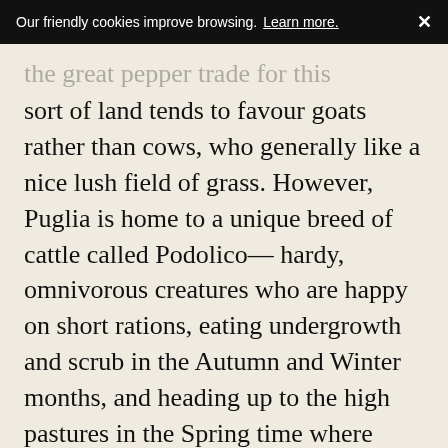Our friendly cookies improve browsing.  Learn more.  ✕
the great pepper trade for this sort of land tends to favour goats rather than cows, who generally like a nice lush field of grass. However, Puglia is home to a unique breed of cattle called Podolico— hardy, omnivorous creatures who are happy on short rations, eating undergrowth and scrub in the Autumn and Winter months, and heading up to the high pastures in the Spring time where they thrive on a diet of blueberries, rose hips, hawthorn, cornelian cherries, juniper, and wild strawberries, which aside from being absurdly luxurious, gives rich aromatic milk.
C…